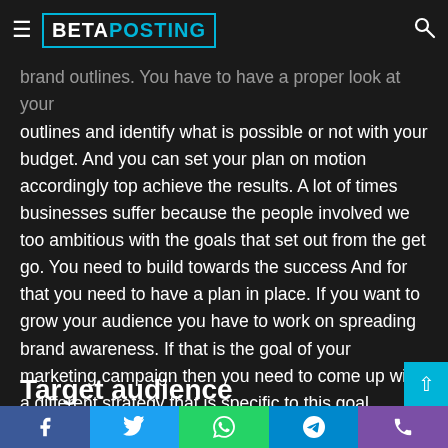BETAPOSTING
business ventures having achievable goals is essential to the brand outlines. You have to have a proper look at your outlines and identify what is possible or not with your budget. And you can set your plan on motion accordingly top achieve the results. A lot of times businesses suffer because the people involved we too ambitious with the goals that set out from the get go. You need to build towards the success And for that you need to have a plan in place. If you want to grow your audience you have to work on spreading brand awareness. If that is the goal of your marketing campaign then you need to come up with a different strategy that is specific to this goal.
Target audience